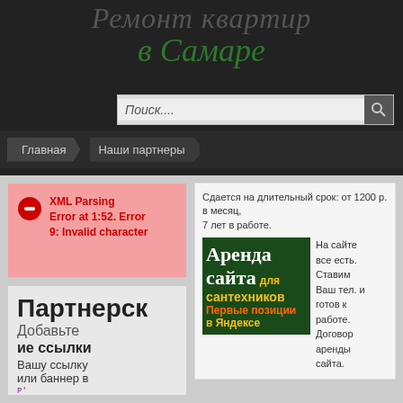Ремонт квартир в Самаре
[Figure (screenshot): Search bar with placeholder text Поиск.... and search button]
[Figure (screenshot): Navigation bar with items Главная and Наши партнеры]
[Figure (screenshot): XML Parsing Error box: Error at 1:52. Error 9: Invalid character]
[Figure (screenshot): Partner links section showing Партнерские ссылки, Добавьте Вашу ссылку или баннер]
Сдается на длительный срок: от 1200 р. в месяц, 7 лет в работе.
[Figure (screenshot): Banner: Аренда сайта для сантехников — Первые позиции в Яндексе]
На сайте все есть. Ставим Ваш тел. и готов к работе. Договор аренды сайта.